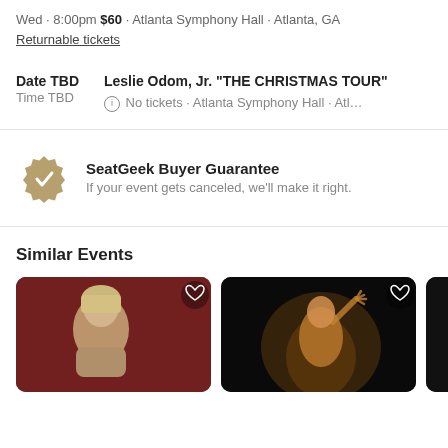Wed · 8:00pm $60 · Atlanta Symphony Hall · Atlanta, GA
Returnable tickets
Date TBD
Time TBD
Leslie Odom, Jr. "THE CHRISTMAS TOUR"
No tickets · Atlanta Symphony Hall · Atl...
SeatGeek Buyer Guarantee
If your event gets canceled, we'll make it right.
Similar Events
[Figure (photo): Photo of a young blonde person against a dark red background]
[Figure (photo): Photo of a performer on stage with dark background and raised hand]